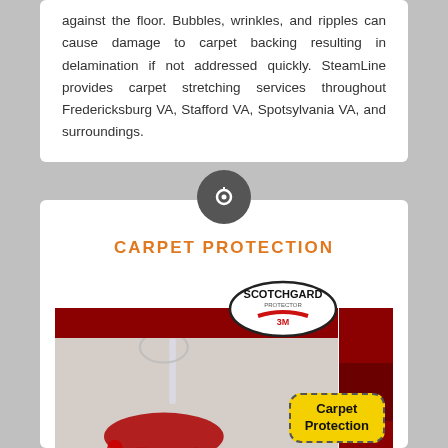against the floor. Bubbles, wrinkles, and ripples can cause damage to carpet backing resulting in delamination if not addressed quickly. SteamLine provides carpet stretching services throughout Fredericksburg VA, Stafford VA, Spotsylvania VA, and surroundings.
CARPET PROTECTION
[Figure (photo): Scotchgard 3M Protector logo badge overlaid on a red banner and an image showing a spilled wine glass on carpet, with a yellow dashed-border badge reading 'Carpet Protection']